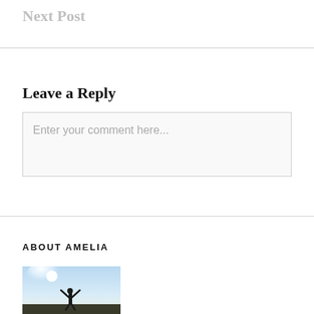Next Post
Leave a Reply
Enter your comment here...
ABOUT AMELIA
[Figure (photo): A person standing in a field with arms raised against a bright sky]